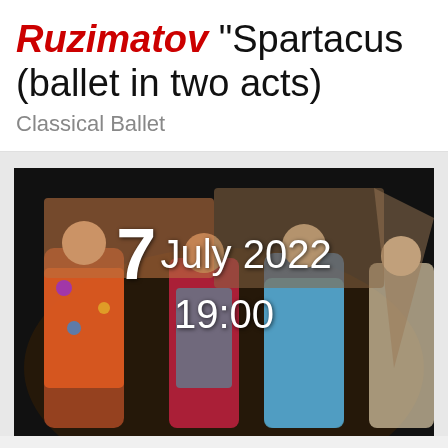Ruzimatov "Spartacus (ballet in two acts)
Classical Ballet
[Figure (photo): Stage performance photo showing dancers in colorful costumes against a dark background, with text overlay showing '7 July 2022 19:00']